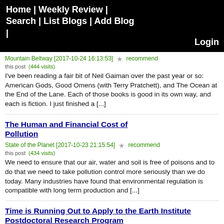Home | Weekly Review | Search | List Blogs | Add Blog | Login
Mountain Beltway [2017-10-24 16:13:53] ☆ recommend this post (444 visits)
I've been reading a fair bit of Neil Gaiman over the past year or so: American Gods, Good Omens (with Terry Pratchett), and The Ocean at the End of the Lane. Each of those books is good in its own way, and each is fiction. I just finished a [...]
The Human and Financial Cost of Pollution
State of the Planet [2017-10-23 21:15:54] ☆ recommend this post (434 visits)
We need to ensure that our air, water and soil is free of poisons and to do that we need to take pollution control more seriously than we do today. Many industries have found that environmental regulation is compatible with long term production and [...]
Time is Running Out to Apply to the Earth Institute Postdoctoral Research Program
State of the Planet [2017-10-24 16:30:17] ☆ recommend this post (422 visits)
If you're a postdoc interested in sustainable development, apply by October
Under the Sea Ice, Behold the Ancient